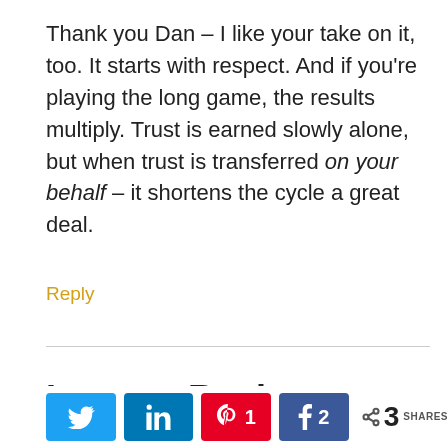Thank you Dan – I like your take on it, too. It starts with respect. And if you're playing the long game, the results multiply. Trust is earned slowly alone, but when trust is transferred on your behalf – it shortens the cycle a great deal.
Reply
Leave a Reply
Social share bar: Twitter, LinkedIn, Pinterest 1, Facebook 2, 3 SHARES